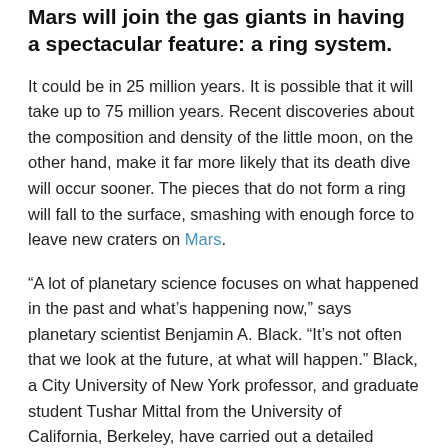Mars will join the gas giants in having a spectacular feature: a ring system.
It could be in 25 million years. It is possible that it will take up to 75 million years. Recent discoveries about the composition and density of the little moon, on the other hand, make it far more likely that its death dive will occur sooner. The pieces that do not form a ring will fall to the surface, smashing with enough force to leave new craters on Mars.
“A lot of planetary science focuses on what happened in the past and what’s happening now,” says planetary scientist Benjamin A. Black. “It’s not often that we look at the future, at what will happen.” Black, a City University of New York professor, and graduate student Tushar Mittal from the University of California, Berkeley, have carried out a detailed examination of the eventual fate of Phobos.
It suggests that the process of predicting the eventual...